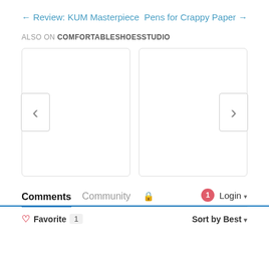← Review: KUM Masterpiece
Pens for Crappy Paper →
ALSO ON COMFORTABLESHOESSTUDIO
[Figure (screenshot): Two blank card placeholders with left and right navigation arrows, part of a content carousel widget]
Comments  Community  🔒  1  Login ▾
♡ Favorite  1  Sort by Best ▾